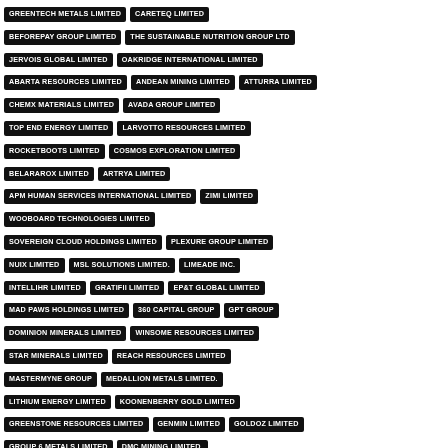GREENTECH METALS LIMITED
CARETEQ LIMITED
BEFOREPAY GROUP LIMITED
THE SUSTAINABLE NUTRITION GROUP LTD
JERVOIS GLOBAL LIMITED
OAKRIDGE INTERNATIONAL LIMITED
ABARTA RESOURCES LIMITED
ANDEAN MINING LIMITED
ATTURRA LIMITED
CHEMX MATERIALS LIMITED
AVADA GROUP LIMITED
TOP END ENERGY LIMITED
LARVOTTO RESOURCES LIMITED
ROCKETBOOTS LIMITED
COSMOS EXPLORATION LIMITED
BELARAROX LIMITED
ARTRYA LIMITED
APM HUMAN SERVICES INTERNATIONAL LIMITED
ZIMI LIMITED
WOOBOARD TECHNOLOGIES LIMITED
SOVEREIGN CLOUD HOLDINGS LIMITED
PLEXURE GROUP LIMITED
NUIX LIMITED
MSL SOLUTIONS LIMITED.
LIMEADE INC.
INTELLIHR LIMITED
GRATIFII LIMITED
EP&T GLOBAL LIMITED
MAD PAWS HOLDINGS LIMITED
360 CAPITAL GROUP
GPT GROUP
DOMINION MINERALS LIMITED
WINSOME RESOURCES LIMITED
STAR MINERALS LIMITED
REACH RESOURCES LIMITED
MASTERMYNE GROUP
MEDALLION METALS LIMITED.
LITHIUM ENERGY LIMITED
KOONENBERRY GOLD LIMITED
GREENSTONE RESOURCES LIMITED
GENMIN LIMITED
GOLDOZ LIMITED
GROUP 6 METALS LIMITED
DMC MINING LIMITED.
DIABLO RESOURCES LIMITED
8 AU LIMITED
EBR SYSTEMS INC
HALO FOOD CO. LIMITED
PANCONTINENTAL ENERGY NL
GQG PARTNERS INC.
ARC FUNDS LIMITED
KELSIAN GROUP LIMITED
ALLOGGIO GROUP LIMITED
CLOSE THE LOOP LTD.
VENTIA SERVICES GROUP LIMITED
MAXIPARTS LIMITED
WESTERN MINES GROUP LTD
TULLA RESOURCES PLC
TORQUE METALS LIMITED
TECHGEN METALS LTD